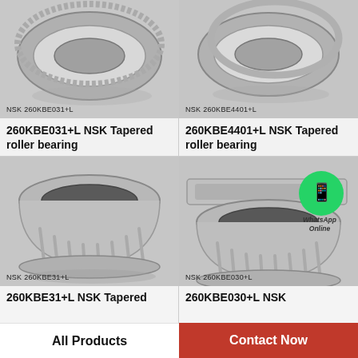[Figure (photo): NSK 260KBE031+L tapered roller bearing photo, top view of stacked rings]
NSK 260KBE031+L
260KBE031+L NSK Tapered roller bearing
[Figure (photo): NSK 260KBE4401+L tapered roller bearing photo, top view of stacked rings]
NSK 260KBE4401+L
260KBE4401+L NSK Tapered roller bearing
[Figure (photo): NSK 260KBE31+L tapered roller bearing photo, side/perspective view showing roller cage]
NSK 260KBE31+L
260KBE31+L NSK Tapered
[Figure (photo): NSK 260KBE030+L tapered roller bearing photo with WhatsApp Online badge overlay]
NSK 260KBE030+L
260KBE030+L NSK
All Products
Contact Now